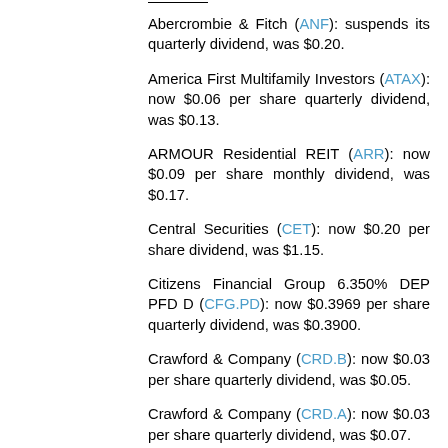Abercrombie & Fitch (ANF): suspends its quarterly dividend, was $0.20.
America First Multifamily Investors (ATAX): now $0.06 per share quarterly dividend, was $0.13.
ARMOUR Residential REIT (ARR): now $0.09 per share monthly dividend, was $0.17.
Central Securities (CET): now $0.20 per share dividend, was $1.15.
Citizens Financial Group 6.350% DEP PFD D (CFG.PD): now $0.3969 per share quarterly dividend, was $0.3900.
Crawford & Company (CRD.B): now $0.03 per share quarterly dividend, was $0.05.
Crawford & Company (CRD.A): now $0.03 per share quarterly dividend, was $0.07.
Cross Timbers Royalty Trust (CRT): now $0.0563 per share monthly dividend, was $0.0859.
The Elmira Savings Bank (ESBK): now $0.15 per share quarterly dividend, was $0.23.
Extended Stay America (STAY): now $0.01 per share quarterly dividend, was $0.22.